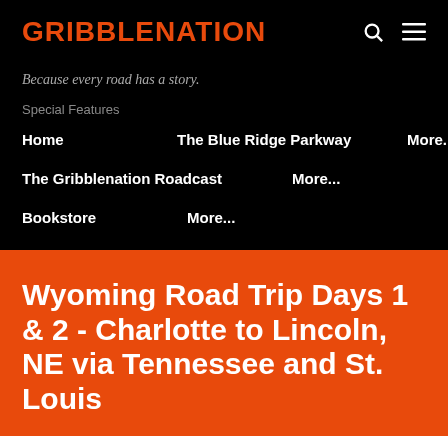GRIBBLENATION
Because every road has a story.
Special Features
Home
The Blue Ridge Parkway
More...
The Gribblenation Roadcast
More...
Bookstore
More...
Wyoming Road Trip Days 1 & 2 - Charlotte to Lincoln, NE via Tennessee and St. Louis